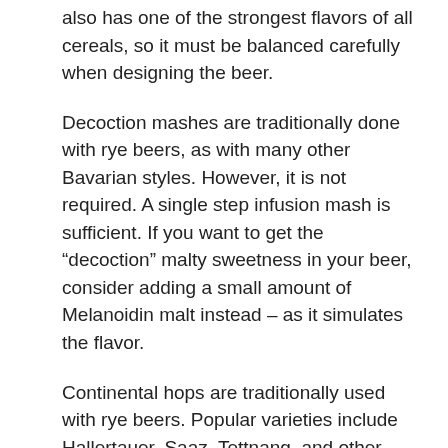also has one of the strongest flavors of all cereals, so it must be balanced carefully when designing the beer.
Decoction mashes are traditionally done with rye beers, as with many other Bavarian styles. However, it is not required. A single step infusion mash is sufficient. If you want to get the “decoction” malty sweetness in your beer, consider adding a small amount of Melanoidin malt instead – as it simulates the flavor.
Continental hops are traditionally used with rye beers. Popular varieties include Hallertauer, Saaz, Tettnang, and other noble and semi-noble hops. Hop levels are low, so finishing and dry hops are not often used.
Bavarian Weizen or Hefeweizen yeasts are used in this style to produce a distinctive clove and banana flavor. The beer is often fermented at a slightly low fermentation temperature to help emphasize the clove flavor and also prevent the formation of esters (fruity flavor). The finished beer is served highly carbonated and chilled, and may be